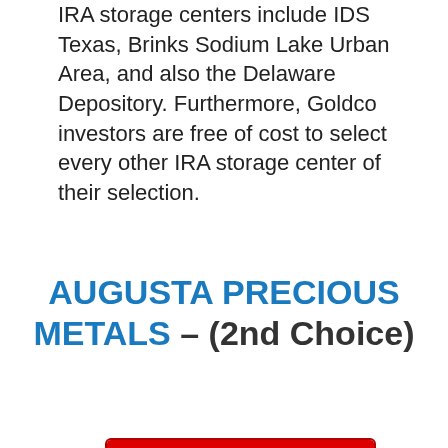IRA storage centers include IDS Texas, Brinks Sodium Lake Urban Area, and also the Delaware Depository. Furthermore, Goldco investors are free of cost to select every other IRA storage center of their selection.
AUGUSTA PRECIOUS METALS – (2nd Choice)
[Figure (other): Red to yellow gradient CTA button with text 'GET Augusta's FREE GUIDE']
Pros:
In addition to using Gold and Silver Individual Retirement Accounts, Augusta Rare-earth